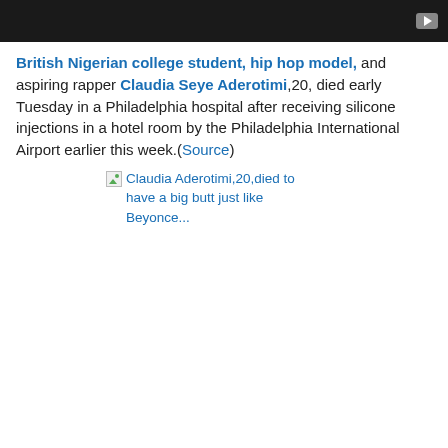[Figure (screenshot): Dark video player banner with play button in top-right corner]
British Nigerian college student, hip hop model, and aspiring rapper Claudia Seye Aderotimi,20, died early Tuesday in a Philadelphia hospital after receiving silicone injections in a hotel room by the Philadelphia International Airport earlier this week.(Source)
[Figure (photo): Broken image placeholder with alt text: Claudia Aderotimi,20,died to have a big butt just like Beyonce...]